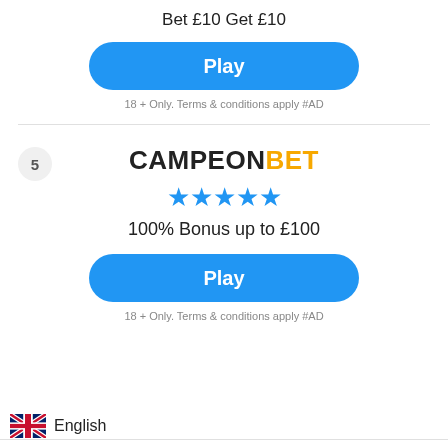Bet £10 Get £10
[Figure (other): Blue rounded Play button]
18 + Only. Terms & conditions apply #AD
[Figure (logo): CampeonBet logo with black CAMPEON and orange BET text]
[Figure (other): Five blue star rating]
100% Bonus up to £100
[Figure (other): Blue rounded Play button]
18 + Only. Terms & conditions apply #AD
English